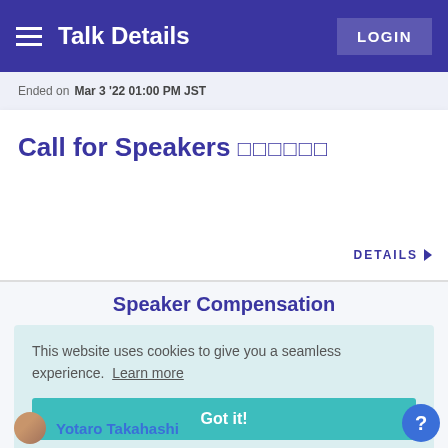Talk Details  LOGIN
Ended on Mar 3 '22 01:00 PM JST
Call for Speakers 登壇者募集
DETAILS ▶
Speaker Compensation
This website uses cookies to give you a seamless experience. Learn more
Got it!
Yotaro Takahashi